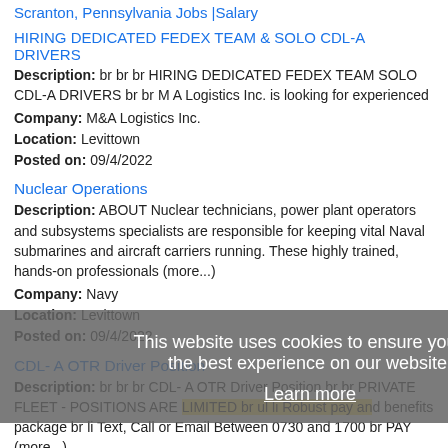Scranton, Pennsylvania Jobs |Salary
HIRING DEDICATED FEDEX TEAM & SOLO CDL-A DRIVERS
Description: br br br HIRING DEDICATED FEDEX TEAM SOLO CDL-A DRIVERS br br M A Logistics Inc. is looking for experienced
Company: M&A Logistics Inc.
Location: Levittown
Posted on: 09/4/2022
Nuclear Operations
Description: ABOUT Nuclear technicians, power plant operators and subsystems specialists are responsible for keeping vital Naval submarines and aircraft carriers running. These highly trained, hands-on professionals (more...)
Company: Navy
Location: Levittown
Posted on: 09/4/2022
CDL- A OTR Driver Position
Description: br br br CDL- A OTR Driver Position br br PRIVATE FLEET - POSITIONS ARE LIMITED br ul li Robust pay and benefits package br li Text, Call or Email Between 0730 and 1700 br PAY (more...)
Company: America's Service Line, LLC